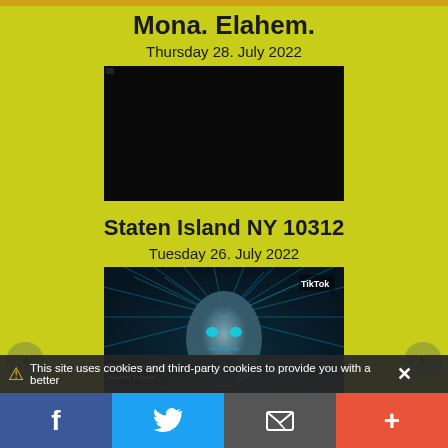Mona. Elahem.
Thursday 28. July 2022
[Figure (photo): Black/dark thumbnail image]
Staten Island NY 10312
Tuesday 26. July 2022
[Figure (photo): TikTok video thumbnail showing a cyberpunk/AI face with circuitry halo, text overlay 'Parallel dimensions between 2 worlds', TikTok logo visible]
Greenwich park london england
Sunday 03. July 2022
This site uses cookies and third-party cookies to provide you with a better
f  [Twitter]  [Email]  +